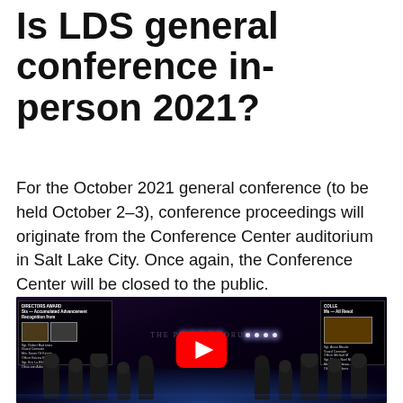Is LDS general conference in-person 2021?
For the October 2021 general conference (to be held October 2–3), conference proceedings will originate from the Conference Center auditorium in Salt Lake City. Once again, the Conference Center will be closed to the public.
[Figure (photo): A dark-themed event stage scene with people in the foreground and a YouTube play button overlay indicating an embedded video. Side panels show award-related content.]